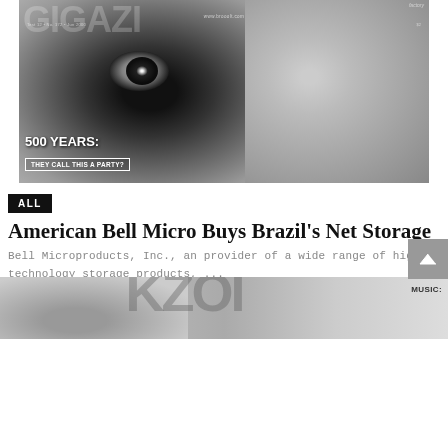[Figure (photo): Black and white magazine cover featuring a close-up of a person's eyes. The cover shows 'GIGAZI' or similar magazine title, website www.h... .com, 'Test 12 • No. 172 • 2000', '500 YEARS: THEY CALL THIS A PARTY?' headline in a box, and 'factory' tagline at top right.]
ALL
American Bell Micro Buys Brazil's Net Storage
Bell Microproducts, Inc., an provider of a wide range of high technology storage products, ...
NEWSROOM · JULY 13, 2005
⇄ 0 SHARES
[Figure (photo): Partial bottom image showing another magazine cover in black and white, with large overlapping letters/numbers and 'MUSIC:' text visible at the right edge.]